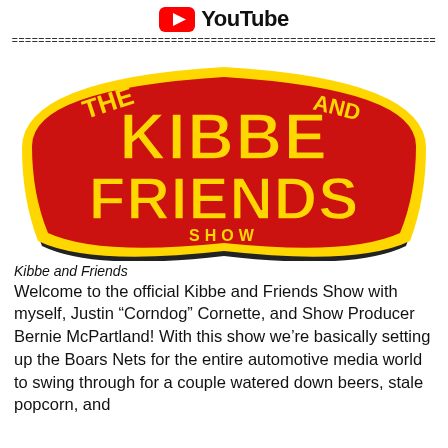YouTube
================================================================
[Figure (logo): The Kibbe and Friends Show logo — large red and yellow circus-style lettering on a yellow badge shape with black outline. Text reads THE KIBBE AND FRIENDS SHOW.]
Kibbe and Friends
Welcome to the official Kibbe and Friends Show with myself, Justin “Corndog” Cornette, and Show Producer Bernie McPartland! With this show we’re basically setting up the Boars Nets for the entire automotive media world to swing through for a couple watered down beers, stale popcorn, and